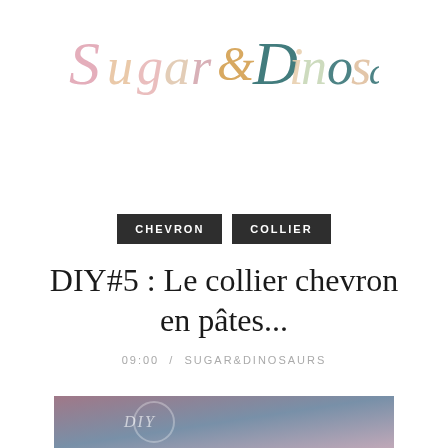[Figure (logo): Sugar & Dinosaurs handwritten logo in multicolor (pink, gold, teal) cursive script]
CHEVRON
COLLIER
DIY#5 : Le collier chevron en pâtes...
09:00 / SUGAR&DINOSAURS
[Figure (photo): Partial bottom image showing DIY craft photo with purple/mauve tones, partially cropped]